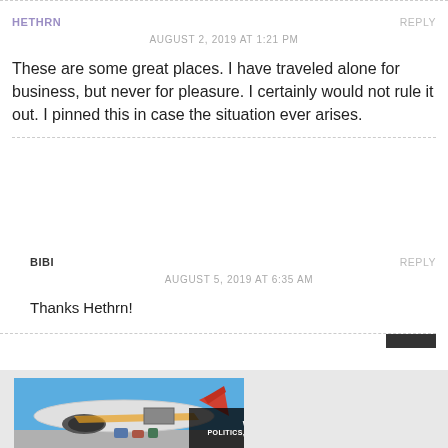HETHRN
REPLY
AUGUST 2, 2019 AT 1:21 PM
These are some great places. I have traveled alone for business, but never for pleasure. I certainly would not rule it out. I pinned this in case the situation ever arises.
BIBI
REPLY
AUGUST 5, 2019 AT 6:35 AM
Thanks Hethrn!
[Figure (photo): Advertisement banner showing a cargo airplane being loaded with luggage, with a dark overlay reading WITHOUT REGARD TO POLITICS, RELIGION, OR ABILITY TO PAY]